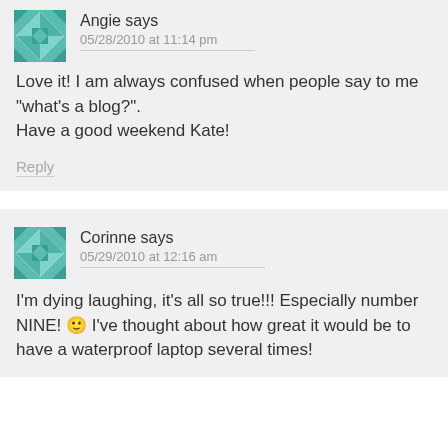[Figure (illustration): Teal/green geometric quilt pattern avatar for Angie]
Angie says
05/28/2010 at 11:14 pm
Love it! I am always confused when people say to me "what's a blog?".
Have a good weekend Kate!
Reply
[Figure (illustration): Teal/green geometric quilt pattern avatar for Corinne]
Corinne says
05/29/2010 at 12:16 am
I'm dying laughing, it's all so true!!! Especially number NINE! 🙂 I've thought about how great it would be to have a waterproof laptop several times!